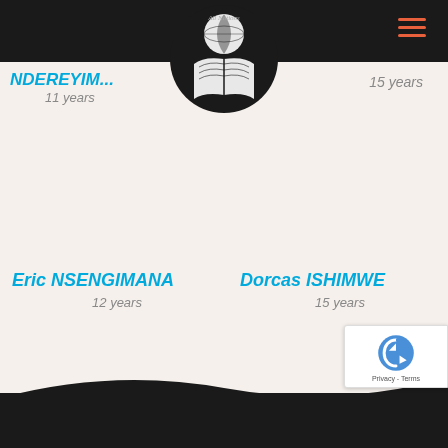All Notions (logo)
NDEREYIM... 11 years | 15 years
[Figure (logo): All Notions circular logo with globe and open book, black background]
Eric NSENGIMANA
12 years
Dorcas ISHIMWE
15 years
[Figure (other): reCAPTCHA badge with Privacy - Terms]